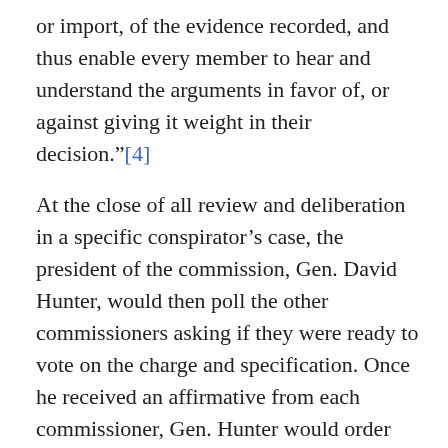or import, of the evidence recorded, and thus enable every member to hear and understand the arguments in favor of, or against giving it weight in their decision."[4]
At the close of all review and deliberation in a specific conspirator's case, the president of the commission, Gen. David Hunter, would then poll the other commissioners asking if they were ready to vote on the charge and specification. Once he received an affirmative from each commissioner, Gen. Hunter would order Judge Advocate General Holt or his Assistant Judge Advocates John Bingham or Henry Burnett, to take the vote. The Judge Advocate would then start by reading the specification against the conspirator first and then “address each member, beginning with the youngest,”[5] asking them if the prisoner was guilty or innocent of the specification. According to the rules of courts-martial, the